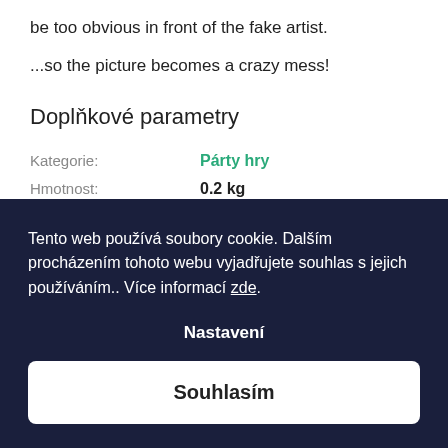be too obvious in front of the fake artist.
...so the picture becomes a crazy mess!
Doplňkové parametry
Kategorie: Párty hry
Hmotnost: 0.2 kg
Doba hraní (minut): 20+
Tento web používá soubory cookie. Dalším procházením tohoto webu vyjadřujete souhlas s jejich používáním.. Více informací zde.
Nastavení
Souhlasím